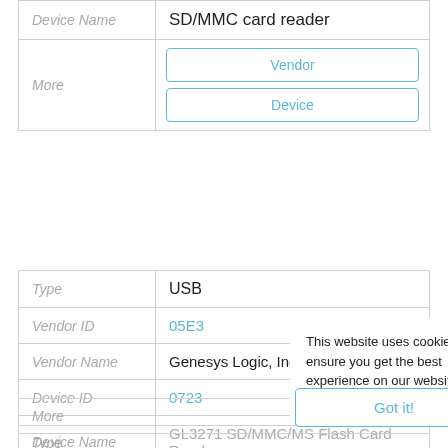| Device Name | SD/MMC card reader |
| More | Vendor | Device |
| Type | USB |
| Vendor ID | 05E3 |
| Vendor Name | Genesys Logic, Inc. |
| Device ID | 0723 |
| Device Name | GL3271 SD/MMC/MS Flash Card Reader (partial) |
| More |  |
This website uses cookies to ensure you get the best experience on our website.
Learn More
| Type |  |
| Vendor ID |  |